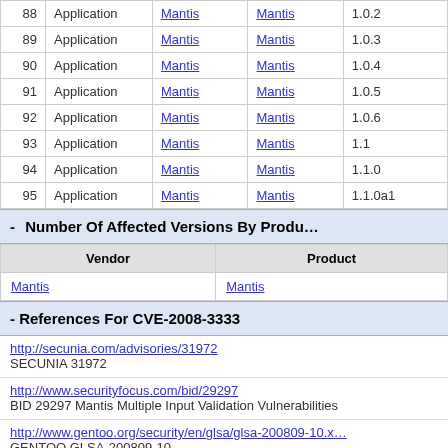| # | Type | Vendor | Product | Version |
| --- | --- | --- | --- | --- |
| 88 | Application | Mantis | Mantis | 1.0.2 |
| 89 | Application | Mantis | Mantis | 1.0.3 |
| 90 | Application | Mantis | Mantis | 1.0.4 |
| 91 | Application | Mantis | Mantis | 1.0.5 |
| 92 | Application | Mantis | Mantis | 1.0.6 |
| 93 | Application | Mantis | Mantis | 1.1 |
| 94 | Application | Mantis | Mantis | 1.1.0 |
| 95 | Application | Mantis | Mantis | 1.1.0a1 |
- Number Of Affected Versions By Product
| Vendor | Product |
| --- | --- |
| Mantis | Mantis |
- References For CVE-2008-3333
http://secunia.com/advisories/31972
SECUNIA 31972
http://www.securityfocus.com/bid/29297
BID 29297 Mantis Multiple Input Validation Vulnerabilities
http://www.gentoo.org/security/en/glsa/glsa-200809-10.x
GENTOO GLSA-200809-10
http://www.securityfocus.com/bid/30354